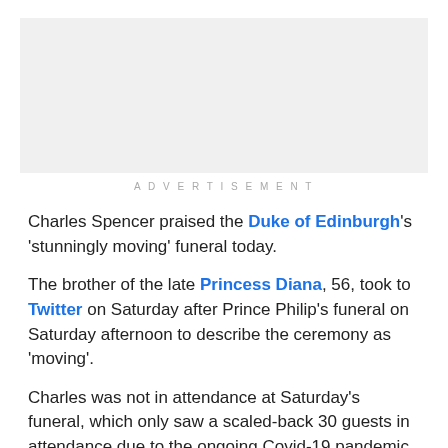[Figure (other): Gray advertisement placeholder box]
ADVERTISEMENT
Charles Spencer praised the Duke of Edinburgh’s ‘stunningly moving’ funeral today.
The brother of the late Princess Diana, 56, took to Twitter on Saturday after Prince Philip’s funeral on Saturday afternoon to describe the ceremony as ‘moving’.
Charles was not in attendance at Saturday’s funeral, which only saw a scaled-back 30 guests in attendance due to the ongoing Covid-19 pandemic.